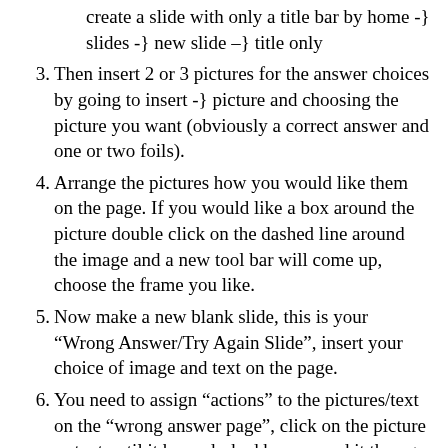create a slide with only a title bar by home -} slides -} new slide –} title only
3. Then insert 2 or 3 pictures for the answer choices by going to insert -} picture and choosing the picture you want (obviously a correct answer and one or two foils).
4. Arrange the pictures how you would like them on the page. If you would like a box around the picture double click on the dashed line around the image and a new tool bar will come up, choose the frame you like.
5. Now make a new blank slide, this is your "Wrong Answer/Try Again Slide", insert your choice of image and text on the page.
6. You need to assign "actions" to the pictures/text on the "wrong answer page", click on the picture or text until it has a dashed box around it then go to -} insert -} links -} actions and choose "previous slide". Now the